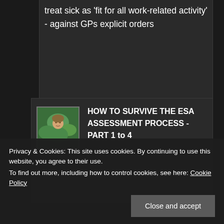treat sick as 'fit for all work-related activity' - against GPs explicit orders
HOW TO SURVIVE THE ESA ASSESSMENT PROCESS - PART 1 to 4
RECENT POSTS
Privacy & Cookies: This site uses cookies. By continuing to use this website, you agree to their use.
To find out more, including how to control cookies, see here: Cookie Policy